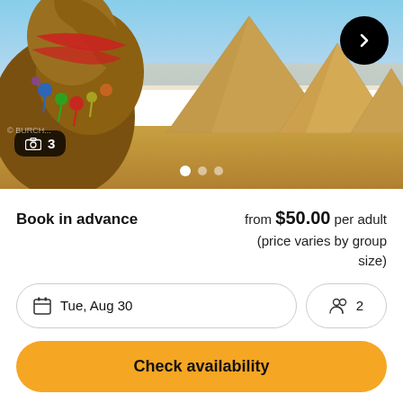[Figure (photo): Hero image of a camel with colorful decorations in front of the Egyptian pyramids under a blue sky, with a right-arrow navigation button and carousel dots]
Book in advance
from $50.00 per adult (price varies by group size)
Tue, Aug 30
2
Check availability
Reserve now & pay later: Save your spot free of